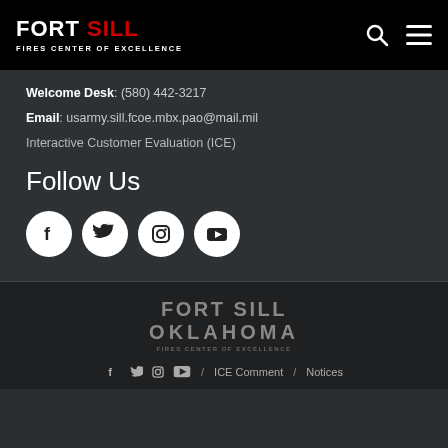FORT SILL FIRES CENTER OF EXCELLENCE
Welcome Desk: (580) 442-3217
Email: usarmy.sill.fcoe.mbx.pao@mail.mil
Interactive Customer Evaluation (ICE)
Follow Us
[Figure (infographic): Social media icons row: Facebook, Twitter, Instagram, YouTube — white circles with dark icons]
[Figure (logo): Fort Sill Oklahoma Fires Center of Excellence logo in gray text]
/ ICE Comment / Notices (with social icons: Facebook, Twitter, Instagram, YouTube)